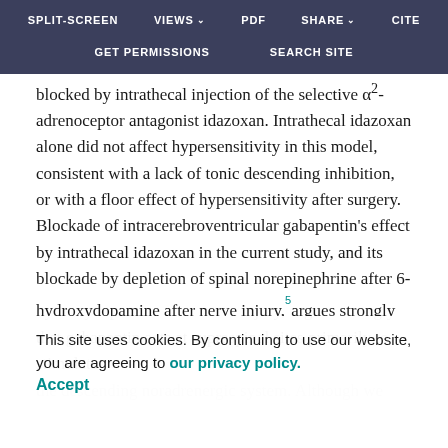SPLIT-SCREEN   VIEWS   PDF   SHARE   CITE   GET PERMISSIONS   SEARCH SITE
blocked by intrathecal injection of the selective α2-adrenoceptor antagonist idazoxan. Intrathecal idazoxan alone did not affect hypersensitivity in this model, consistent with a lack of tonic descending inhibition, or with a floor effect of hypersensitivity after surgery. Blockade of intracerebroventricular gabapentin's effect by intrathecal idazoxan in the current study, and its blockade by depletion of spinal norepinephrine after 6-hydroxydopamine after nerve injury,5argues strongly that gabapentin acts at supraspinal sites primarily to stimulate the descending noradrenergic system. Although we could not administer intrathecal idazoxan to humans, the current study, which showed increased norepinephrine concentrations in CSF after gabapentin compared with
This site uses cookies. By continuing to use our website, you are agreeing to our privacy policy.
Accept